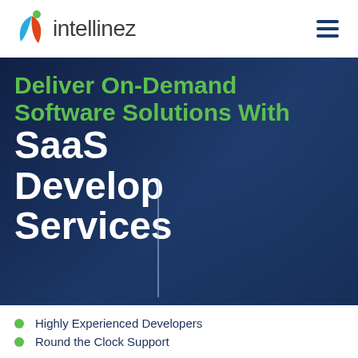[Figure (logo): Intellinez logo with stylized 'i' icon in blue and red/orange and a green dot, followed by the text 'intellinez' in dark gray]
Deliver On-Demand Software Solutions With SaaS Development Services
Highly Experienced Developers
Round the Clock Support